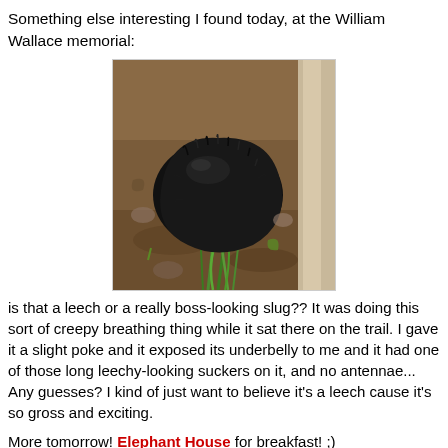Something else interesting I found today, at the William Wallace memorial:
[Figure (photo): A large black slug or leech on a trail, with green grass shoots beneath it, surrounded by soil and plant debris.]
is that a leech or a really boss-looking slug?? It was doing this sort of creepy breathing thing while it sat there on the trail. I gave it a slight poke and it exposed its underbelly to me and it had one of those long leechy-looking suckers on it, and no antennae... Any guesses? I kind of just want to believe it's a leech cause it's so gross and exciting.
More tomorrow! Elephant House for breakfast! ;)